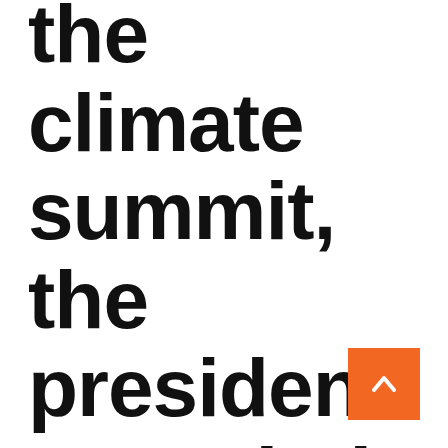the climate summit, the president canceled a quarter of Brazil's environmental
[Figure (other): Orange square scroll-to-top button with a white upward chevron arrow]